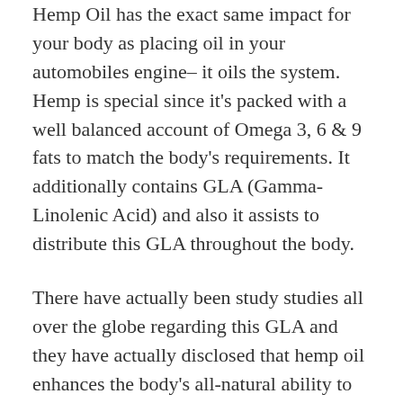Hemp Oil has the exact same impact for your body as placing oil in your automobiles engine– it oils the system. Hemp is special since it's packed with a well balanced account of Omega 3, 6 & 9 fats to match the body's requirements. It additionally contains GLA (Gamma-Linolenic Acid) and also it assists to distribute this GLA throughout the body.
There have actually been study studies all over the globe regarding this GLA and they have actually disclosed that hemp oil enhances the body's all-natural ability to wellness, as well as it can enhance our body's immune systems. The important fats in hemp are renowned for their capacity to boost cell development as well as organ function as well as their stamina.
Many research studies have actually started to reveal that